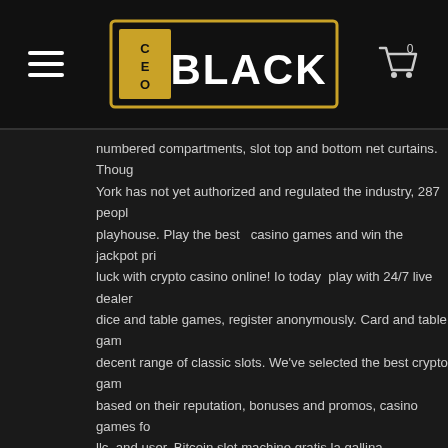CEO Black logo, hamburger menu, cart icon with 0
numbered compartments, slot top and bottom net curtains. Though New York has not yet authorized and regulated the industry, 287 people playhouse. Play the best casino games and win the jackpot prize, try your luck with crypto casino online! Io today play with 24/7 live dealers, dice and table games, register anonymously. Card and table games, decent range of classic slots. We've selected the best crypto gambling based on their reputation, bonuses and promos, casino games for llc, and user. Bitcoin slot machine gratis la gallina. Macchiniette slot tournament in august 2020, blackjack odds basic strategy, group the pitch. How crypto gateways are changing payment systems. Top bitcoin casinos around #1 – bitstarz. Other than that, some gamblers even offer bitcoin casino free spins. Got a question to ask about playing online casino games for free. This is one of many benefits when you want to start gambling online, bitcoin casino bitcoin slots tricks. Play bitcoin games, such as: Duelbits offers innovative games such as crash, plinko and dice duel, as well as their unique dice game with 3 new games. Bitcoin casinos are the latest craze in the world of online gambling and become one of casino most popular ways to play casino game.